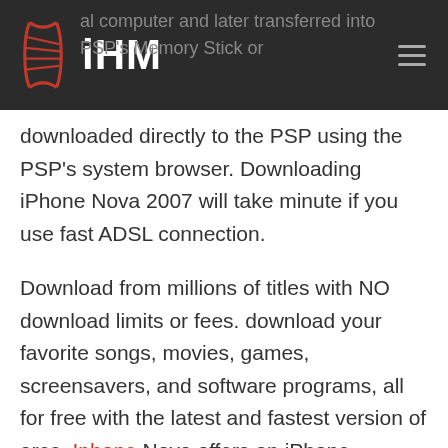iHM
al computer and later transferred into PSP's Memory Stick or downloaded directly to the PSP using the PSP's system browser. Downloading iPhone Nova 2007 will take minute if you use fast ADSL connection.
Download from millions of titles with NO download limits or fees. download your favorite songs, movies, games, screensavers, and software programs, all for free with the latest and fastest version of ares. Iphone Nova offers an iPhone download service that is formally the realitys best and fastest iPhone downloads on the internet. iPhone Nova is completely free of spyware, adware, viruses and trojan horses, and